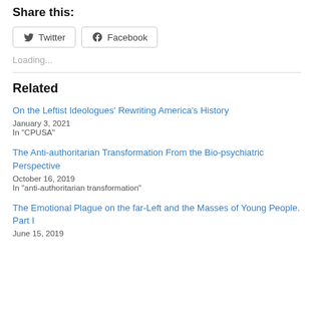Share this:
Twitter  Facebook
Loading...
Related
On the Leftist Ideologues' Rewriting America's History
January 3, 2021
In "CPUSA"
The Anti-authoritarian Transformation From the Bio-psychiatric Perspective
October 16, 2019
In "anti-authoritarian transformation"
The Emotional Plague on the far-Left and the Masses of Young People. Part I
June 15, 2019